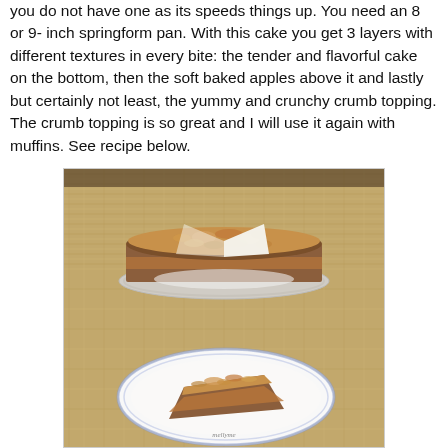you do not have one as its speeds things up. You need an 8 or 9- inch springform pan. With this cake you get 3 layers with different textures in every bite: the tender and flavorful cake on the bottom, then the soft baked apples above it and lastly but certainly not least, the yummy and crunchy crumb topping. The crumb topping is so great and I will use it again with muffins. See recipe below.
[Figure (photo): Photo of an apple crumb cake: whole cake with a slice removed on a round plate (top), and a single slice on a decorative blue-rimmed plate (bottom), both on a woven burlap mat.]